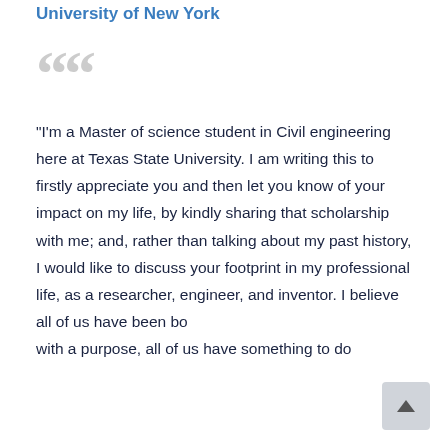University of New York
"I'm a Master of science student in Civil engineering here at Texas State University. I am writing this to firstly appreciate you and then let you know of your impact on my life, by kindly sharing that scholarship with me; and, rather than talking about my past history, I would like to discuss your footprint in my professional life, as a researcher, engineer, and inventor. I believe all of us have been bo[rn] with a purpo[se, all of us have something to do]